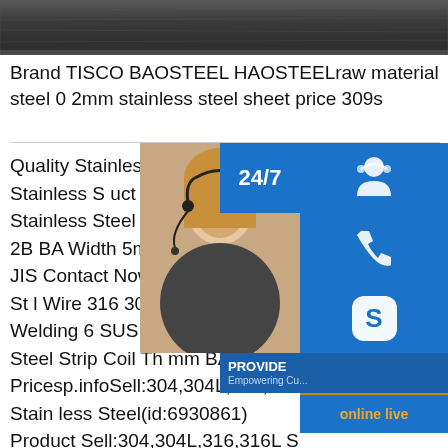[Figure (photo): Dark metallic steel surface texture at top of page]
Brand TISCO BAOSTEEL HAOSTEELraw material steel 0 2mm stainless steel sheet price 309s
[Figure (photo): Customer service representative with headset; sidebar with 24/7 support icons including headset, phone, Skype icons, PROVIDE Empowering Customers text, and online live button]
Quality Stainless Steel Plate Stainless S uct ASTM AISI Stainless Steel Strip SUS 0S 430 2B BA Width 5mm 600mm Sta GB JIS Contact Now.Cold Drawn Soft St l Wire 316 304L Stainless Steel Welding 6 SUS 304 Stainless Steel Strip Coil Th mm BA 2B .Get Pricesp.infoSell:304,304L,316,316L Stainless Steel(id:6930861) Product Sell:304,304L,316,316L Stainless Steel(id:6930861), View quality 304 stainless steel, 304l stainless steel price, 316 stainless steel details from Henan BEBON International Co. storefront on EC21.